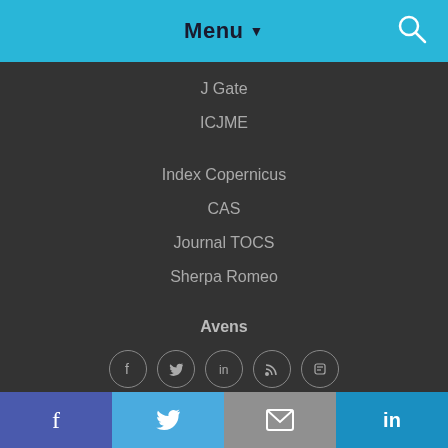Menu
J Gate
ICJME
Index Copernicus
CAS
Journal TOCS
Sherpa Romeo
Avens
[Figure (infographic): Row of 5 social media icon circles: Facebook, Twitter, LinkedIn, RSS, Blogger]
f  [Twitter bird]  [envelope]  in